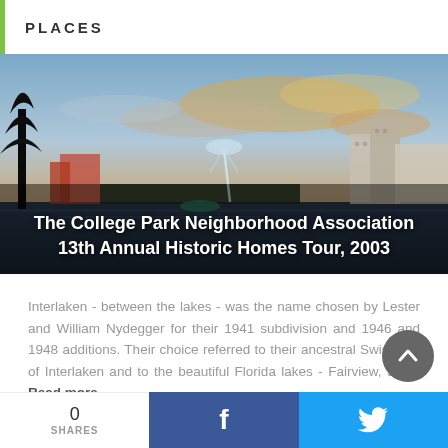PLACES
[Figure (photo): Lakeside cityscape at sunset with a fountain, silhouetted tree in foreground, buildings in background, dramatic sky with orange and blue clouds]
The College Park Neighborhood Association 13th Annual Historic Homes Tour, 2003
Interlaken - between the lakes - was the name chosen by Lester and William Nydegger for their 1941 subdivision and 1946 and 1948 additions. Their choice referred to their ancestral Swiss city of Interlaken and to the beautiful Florida lakes - Fairview, Sa ... Read more
0 SHARES  f  🐦